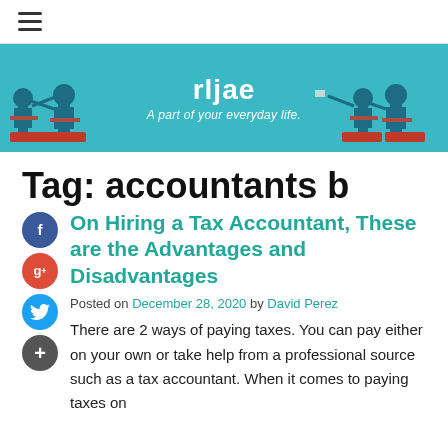≡
[Figure (illustration): Blog banner with teal/cyan background showing silhouettes of business figures pointing at each other, with text 'rljae' and 'A part of your everyday life.']
Tag: accountants b
On Hiring a Tax Accountant, These are the Advantages and Disadvantages
Posted on December 28, 2020 by David Perez
There are 2 ways of paying taxes. You can pay either on your own or take help from a professional source such as a tax accountant. When it comes to paying taxes on